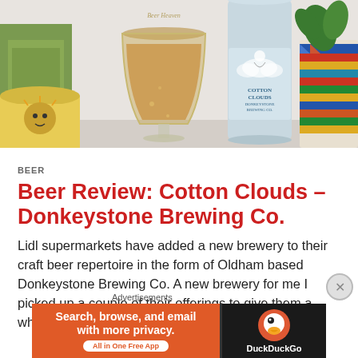[Figure (photo): Photo of beer glass (Beer Heaven branded goblet with amber beer), a Cotton Clouds Donkeystone Brewing Co. can, a cactus plant in a decorative pot, and a colorful patterned planter on a white surface.]
BEER
Beer Review: Cotton Clouds – Donkeystone Brewing Co.
Lidl supermarkets have added a new brewery to their craft beer repertoire in the form of Oldham based Donkeystone Brewing Co. A new brewery for me I picked up a couple of their offerings to give them a whirl. First up is 'Cotton Clouds' a refreshing 4% ABV Pale...
Advertisements
[Figure (screenshot): DuckDuckGo advertisement banner: orange left panel with text 'Search, browse, and email with more privacy. All in One Free App' and dark right panel with DuckDuckGo duck logo and text 'DuckDuckGo'.]